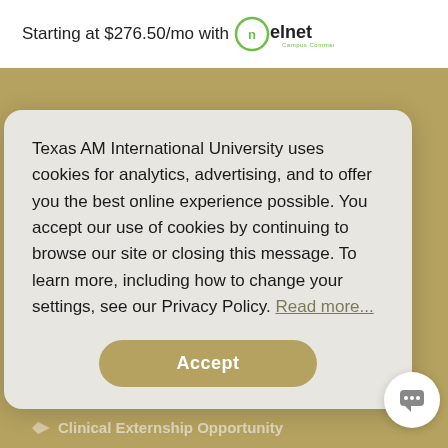Starting at $276.50/mo with nelnet Campus Commerce
Requirements
High School Diploma or GED
Texas AM International University uses cookies for analytics, advertising, and to offer you the best online experience possible. You accept our use of cookies by continuing to browse our site or closing this message. To learn more, including how to change your settings, see our Privacy Policy. Read more...
Accept
Clinical Externship Opportunity